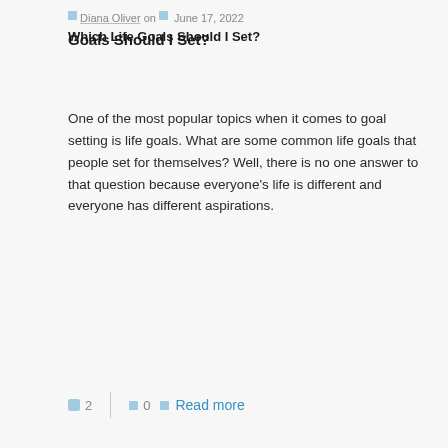Diana Oliver on  June 17, 2022 Which Life Goals Should I Set?
Which Life Goals Should I Set?
One of the most popular topics when it comes to goal setting is life goals. What are some common life goals that people set for themselves? Well, there is no one answer to that question because everyone's life is different and everyone has different aspirations.
2  0  Read more